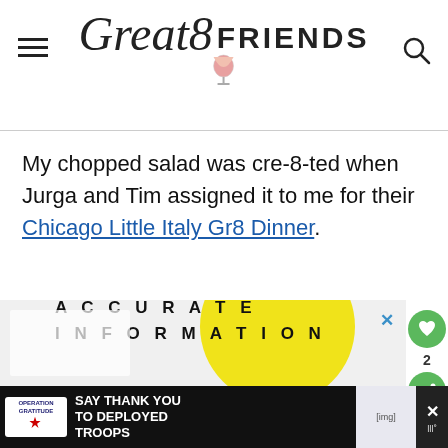Great 8 Friends (logo with hamburger menu and search icon)
My chopped salad was cre-8-ted when Jurga and Tim assigned it to me for their Chicago Little Italy Gr8 Dinner.
[Figure (screenshot): Advertisement area with a yellow circle and bold text reading 'SPREAD ACCURATE INFORMATION', with a close X button in blue at top right, and a green heart save button (count: 2) and green share button on far right.]
[Figure (screenshot): Bottom advertisement bar: Operation Gratitude ad saying 'SAY THANK YOU TO DEPLOYED TROOPS' with patriotic imagery, and a close button on the right.]